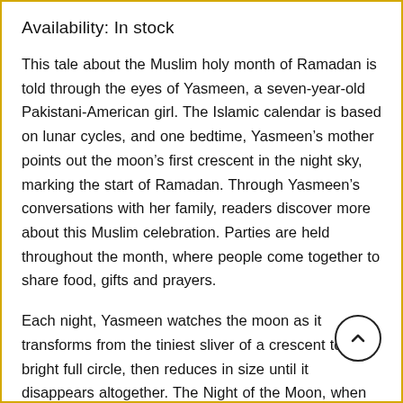Availability: In stock
This tale about the Muslim holy month of Ramadan is told through the eyes of Yasmeen, a seven-year-old Pakistani-American girl. The Islamic calendar is based on lunar cycles, and one bedtime, Yasmeen’s mother points out the moon’s first crescent in the night sky, marking the start of Ramadan. Through Yasmeen’s conversations with her family, readers discover more about this Muslim celebration. Parties are held throughout the month, where people come together to share food, gifts and prayers.
Each night, Yasmeen watches the moon as it transforms from the tiniest sliver of a crescent to a bright full circle, then reduces in size until it disappears altogether. The Night of the Moon, when the first crescent appears again, signifies the end of Ramadan and is followed by the festival of Eid. Yasmeen prays in the mosque, has her hands decorated with henna, eats wonderful food, and